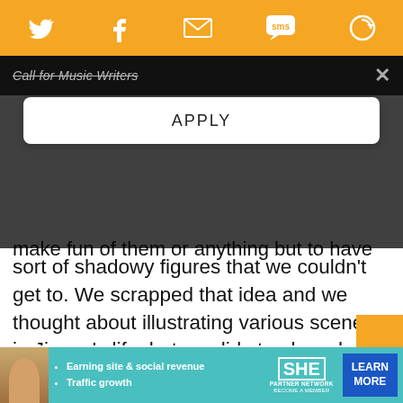[Figure (screenshot): Orange social sharing bar with Twitter, Facebook, email, SMS, and another icon]
Call for Music Writers
[Figure (screenshot): APPLY button on dark overlay]
make fun of them or anything but to have these sort of shadowy figures that we couldn't get to. We scrapped that idea and we thought about illustrating various scenes in Jimmy's life, but we did storyboards and every time we put them together, they just didn't work. Our final idea, which is what we ended up doing, was to have animation at the beginning and at the end with just a few things.
[Figure (screenshot): Advertisement banner: SHE Partner Network - Earning site & social revenue, Traffic growth - LEARN MORE]